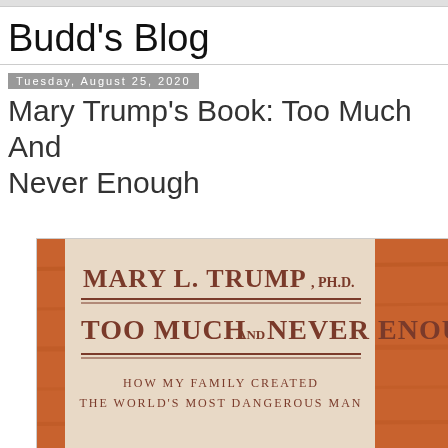Budd's Blog
Tuesday, August 25, 2020
Mary Trump's Book: Too Much And Never Enough
[Figure (photo): Photo of the book 'Too Much and Never Enough' by Mary L. Trump, Ph.D., showing the book cover with the text: MARY L. TRUMP, PH.D. / TOO MUCH AND NEVER ENOUGH / HOW MY FAMILY CREATED / THE WORLD'S MOST DANGEROUS MAN, placed on a wooden surface.]